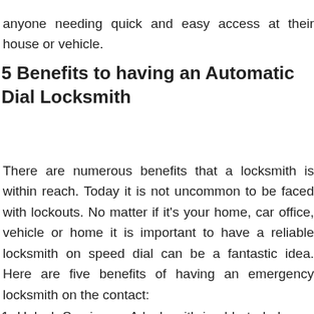anyone needing quick and easy access at their house or vehicle.
5 Benefits to having an Automatic Dial Locksmith
There are numerous benefits that a locksmith is within reach. Today it is not uncommon to be faced with lockouts. No matter if it's your home, car office, vehicle or home it is important to have a reliable locksmith on speed dial can be a fantastic idea. Here are five benefits of having an emergency locksmith on the contact:
1. Unlock Services – A locksmith is able to help you if